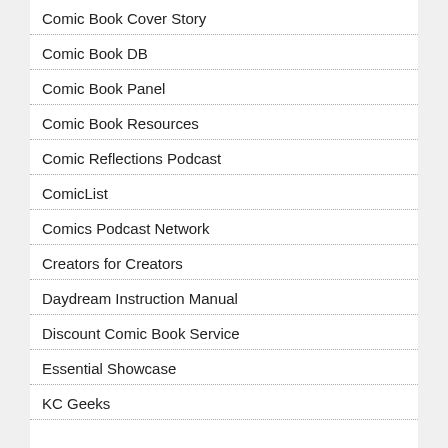Comic Book Cover Story
Comic Book DB
Comic Book Panel
Comic Book Resources
Comic Reflections Podcast
ComicList
Comics Podcast Network
Creators for Creators
Daydream Instruction Manual
Discount Comic Book Service
Essential Showcase
KC Geeks